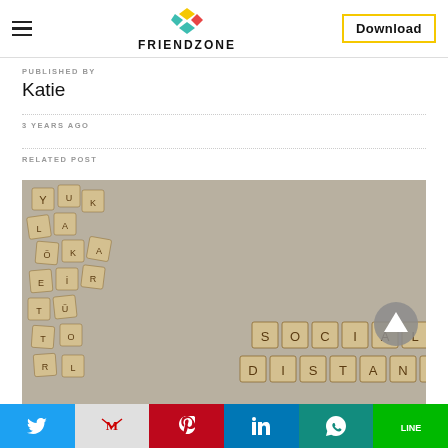FRIENDZONE | Download
PUBLISHED BY
Katie
3 YEARS AGO
RELATED POST
[Figure (photo): Scrabble tiles arranged on a grey surface spelling 'SOCIAL DISTANCI...' with scattered letter tiles in the top-left corner]
Social share bar: Twitter, Gmail, Pinterest, LinkedIn, WhatsApp, LINE